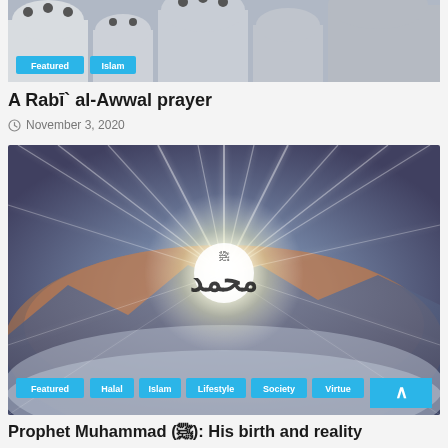[Figure (photo): Top image of white domed buildings/mosque rooftops with Featured and Islam tags overlay]
A Rabī` al-Awwal prayer
November 3, 2020
[Figure (photo): Dramatic sunset/sunrise background with radiant light burst and Arabic calligraphy of Prophet Muhammad (ﷺ) in center, with category tags: Featured, Halal, Islam, Lifestyle, Society, Virtue]
Prophet Muhammad (ﷺ): His birth and reality